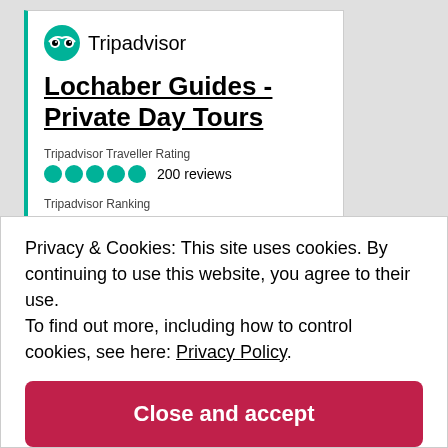[Figure (logo): Tripadvisor logo with owl icon and Tripadvisor wordmark]
Lochaber Guides - Private Day Tours
Tripadvisor Traveller Rating
200 reviews
Tripadvisor Ranking
#7 of 46 Outdoor Activities in Fort William
Recent Traveller Reviews
“Tower Ridge, Ben Nevis,”
Privacy & Cookies: This site uses cookies. By continuing to use this website, you agree to their use.
To find out more, including how to control cookies, see here: Privacy Policy
Close and accept